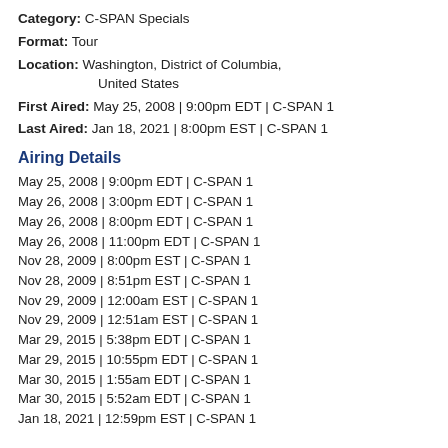Category: C-SPAN Specials
Format: Tour
Location: Washington, District of Columbia, United States
First Aired: May 25, 2008 | 9:00pm EDT | C-SPAN 1
Last Aired: Jan 18, 2021 | 8:00pm EST | C-SPAN 1
Airing Details
May 25, 2008 | 9:00pm EDT | C-SPAN 1
May 26, 2008 | 3:00pm EDT | C-SPAN 1
May 26, 2008 | 8:00pm EDT | C-SPAN 1
May 26, 2008 | 11:00pm EDT | C-SPAN 1
Nov 28, 2009 | 8:00pm EST | C-SPAN 1
Nov 28, 2009 | 8:51pm EST | C-SPAN 1
Nov 29, 2009 | 12:00am EST | C-SPAN 1
Nov 29, 2009 | 12:51am EST | C-SPAN 1
Mar 29, 2015 | 5:38pm EDT | C-SPAN 1
Mar 29, 2015 | 10:55pm EDT | C-SPAN 1
Mar 30, 2015 | 1:55am EDT | C-SPAN 1
Mar 30, 2015 | 5:52am EDT | C-SPAN 1
Jan 18, 2021 | 12:59pm EST | C-SPAN 1